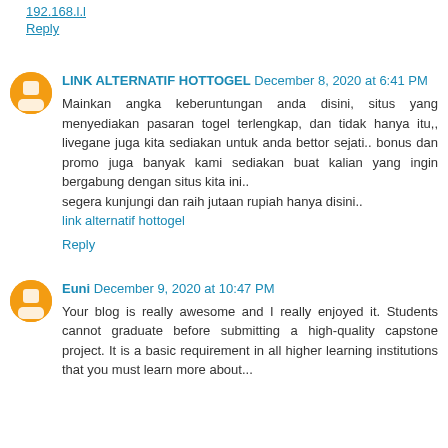192.168.l.l
Reply
LINK ALTERNATIF HOTTOGEL December 8, 2020 at 6:41 PM
Mainkan angka keberuntungan anda disini, situs yang menyediakan pasaran togel terlengkap, dan tidak hanya itu,, livegane juga kita sediakan untuk anda bettor sejati.. bonus dan promo juga banyak kami sediakan buat kalian yang ingin bergabung dengan situs kita ini.. segera kunjungi dan raih jutaan rupiah hanya disini..
link alternatif hottogel
Reply
Euni December 9, 2020 at 10:47 PM
Your blog is really awesome and I really enjoyed it. Students cannot graduate before submitting a high-quality capstone project. It is a basic requirement in all higher learning institutions that you must learn more about...